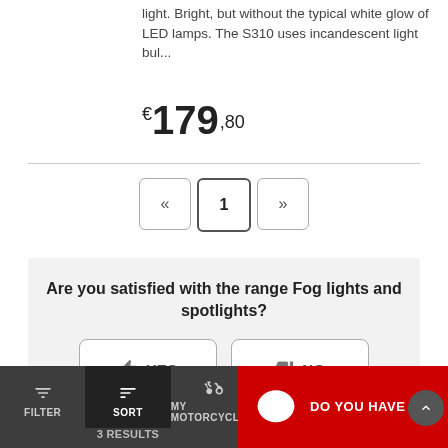light. Bright, but without the typical white glow of LED lamps. The S310 uses incandescent light bul...
€179,80
« 1 »
Are you satisfied with the range Fog lights and spotlights?
YES
NO
FILTER
SORT
MY MOTORCYCLE
3 RESULTS
DO YOU HAVE ANY